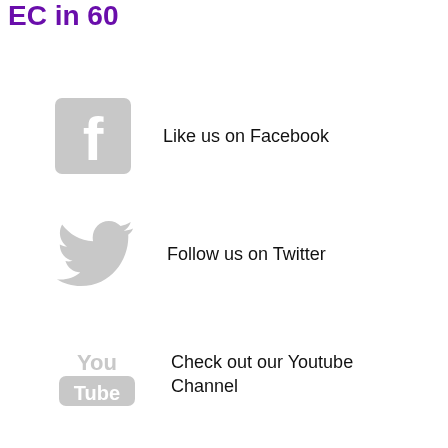EC in 60
Like us on Facebook
Follow us on Twitter
Check out our Youtube Channel